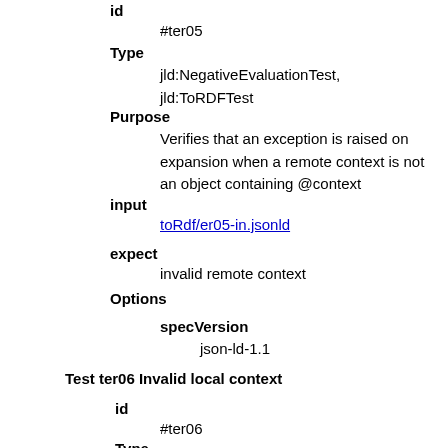id
#ter05
Type
jld:NegativeEvaluationTest, jld:ToRDFTest
Purpose
Verifies that an exception is raised on expansion when a remote context is not an object containing @context
input
toRdf/er05-in.jsonld
expect
invalid remote context
Options
specVersion
json-ld-1.1
Test ter06 Invalid local context
id
#ter06
Type
jld:NegativeEvaluationTest, jld:ToRDFTest
P...